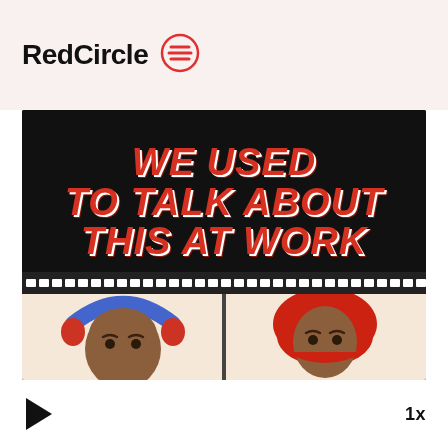[Figure (logo): RedCircle logo with text 'RedCircle' and red circular icon with horizontal lines]
[Figure (illustration): Podcast cover art for 'We Used To Talk About This At Work' showing bold red italic text on black background with film strip and two cartoon character faces]
1x